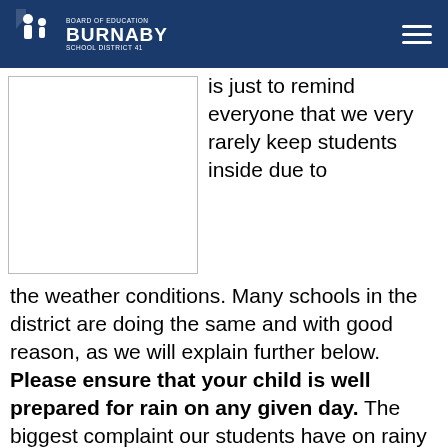Board of Education Burnaby School District 41
[Figure (photo): Partially visible image placeholder on the left side of the page]
is just to remind everyone that we very rarely keep students inside due to the weather conditions. Many schools in the district are doing the same and with good reason, as we will explain further below. Please ensure that your child is well prepared for rain on any given day. The biggest complaint our students have on rainy days is that they are cold. We